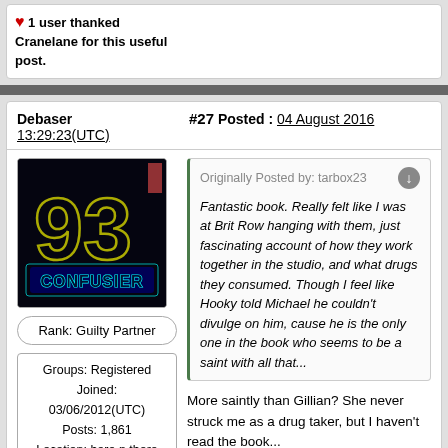1 user thanked Cranelane for this useful post.
Debaser
#27 Posted : 04 August 2016 13:29:23(UTC)
[Figure (illustration): Dark background avatar image showing neon-style text '93' and 'CONFUSIER' in glowing yellow/green outlines]
Rank: Guilty Partner
Groups: Registered
Joined: 03/06/2012(UTC)
Posts: 1,861
Location: here n there
Thanks: 386 times
Was thanked: 2537
Originally Posted by: tarbox23
Fantastic book. Really felt like I was at Brit Row hanging with them, just fascinating account of how they work together in the studio, and what drugs they consumed. Though I feel like Hooky told Michael he couldn't divulge on him, cause he is the only one in the book who seems to be a saint with all that...
More saintly than Gillian? She never struck me as a drug taker, but I haven't read the book...